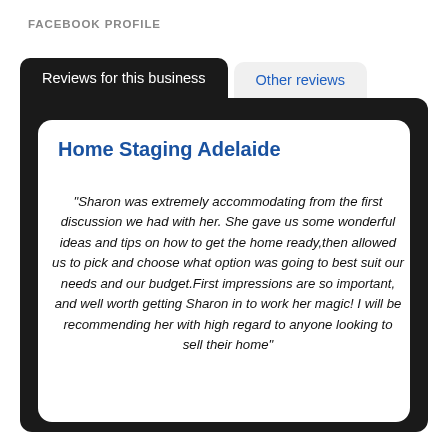FACEBOOK PROFILE
Reviews for this business
Other reviews
Home Staging Adelaide
“Sharon was extremely accommodating from the first discussion we had with her. She gave us some wonderful ideas and tips on how to get the home ready,then allowed us to pick and choose what option was going to best suit our needs and our budget.First impressions are so important, and well worth getting Sharon in to work her magic! I will be recommending her with high regard to anyone looking to sell their home”